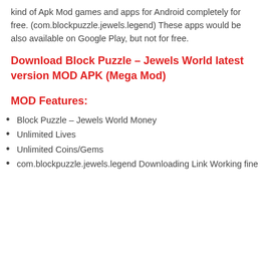kind of Apk Mod games and apps for Android completely for free. (com.blockpuzzle.jewels.legend) These apps would be also available on Google Play, but not for free.
Download Block Puzzle – Jewels World latest version MOD APK (Mega Mod)
MOD Features:
Block Puzzle – Jewels World Money
Unlimited Lives
Unlimited Coins/Gems
com.blockpuzzle.jewels.legend Downloading Link Working fine